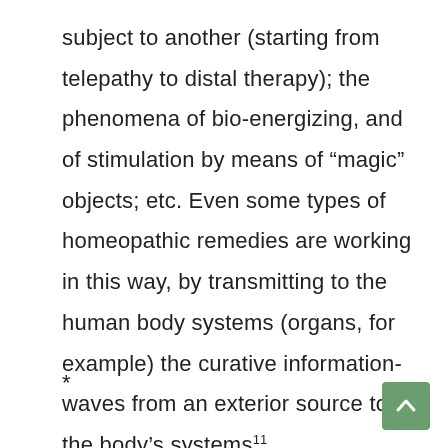subject to another (starting from telepathy to distal therapy); the phenomena of bio-energizing, and of stimulation by means of “magic” objects; etc. Even some types of homeopathic remedies are working in this way, by transmitting to the human body systems (organs, for example) the curative information-waves from an exterior source to the body’s systems¹¹.
*